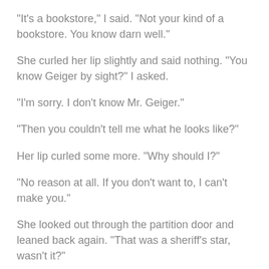"It's a bookstore," I said. "Not your kind of a bookstore. You know darn well."
She curled her lip slightly and said nothing. "You know Geiger by sight?" I asked.
"I'm sorry. I don't know Mr. Geiger."
"Then you couldn't tell me what he looks like?"
Her lip curled some more. "Why should I?"
"No reason at all. If you don't want to, I can't make you."
She looked out through the partition door and leaned back again. "That was a sheriff's star, wasn't it?"
"Honorary deputy. Doesn't mean a thing. It's worth a dime cigar."